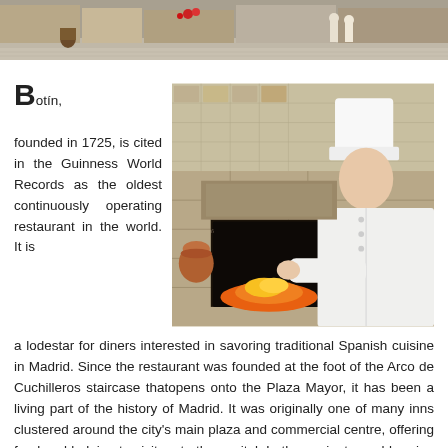[Figure (photo): Top banner photo showing a street scene in Madrid, Spain, with buildings, potted plants, and people in the background.]
Botín, founded in 1725, is cited in the Guinness World Records as the oldest continuously operating restaurant in the world. It is a lodestar for diners interested in savoring traditional Spanish cuisine in Madrid. Since the restaurant was founded at the foot of the Arco de Cuchilleros staircase thatopens onto the Plaza Mayor, it has been a living part of the history of Madrid. It was originally one of many inns clustered around the city's main plaza and commercial centre, offering food and lodging to visitors to the capital. In the ancient wood-burning stove of Botín, suckling pig and lamb were roasted in the traditional Castilian style. The inn was popular among bohemian and literary figures, such as the writer Valle Inclán and the painter Julio Romero de Torres. Botín is
[Figure (photo): Photo of a chef in white uniform and tall chef's hat tending to a wood-burning oven at Botín restaurant in Madrid.]